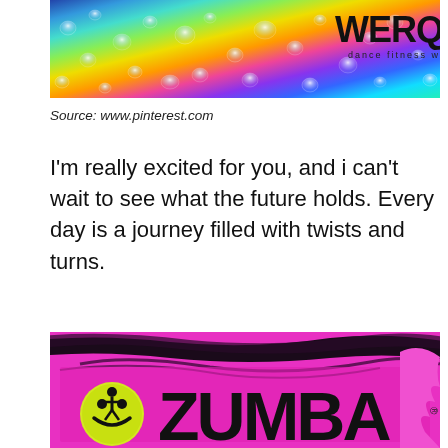[Figure (photo): Colorful iridescent surface with water droplets, WERQ dance fitness workout logo in upper right corner]
Source: www.pinterest.com
I'm really excited for you, and i can't wait to see what the future holds. Every day is a journey filled with twists and turns.
[Figure (photo): Zumba fitness logo on bright pink background with black brushstroke design and yellow smiley face mascot]